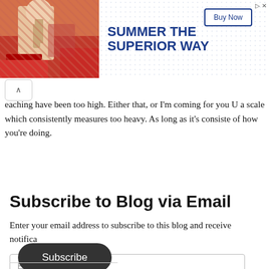[Figure (photo): Advertisement banner: left side shows a photo of a person holding a beer bottle at an outdoor cafe. Right side shows blue dotted background with bold text 'SUMMER THE SUPERIOR WAY' and a 'Buy Now' button.]
eaching have been too high. Either that, or I'm coming for you U a scale which consistently measures too heavy. As long as it's consiste of how you're doing.
Subscribe to Blog via Email
Enter your email address to subscribe to this blog and receive notifica
Help spread the word: